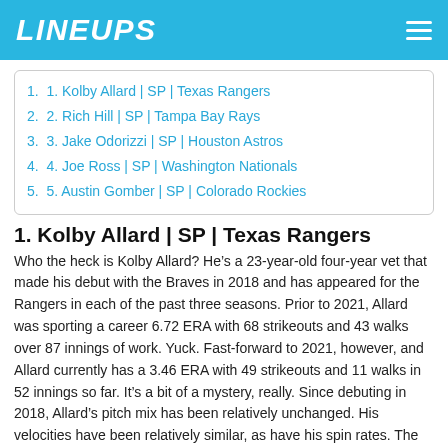LINEUPS
1. Kolby Allard | SP | Texas Rangers
2. Rich Hill | SP | Tampa Bay Rays
3. Jake Odorizzi | SP | Houston Astros
4. Joe Ross | SP | Washington Nationals
5. Austin Gomber | SP | Colorado Rockies
1. Kolby Allard | SP | Texas Rangers
Who the heck is Kolby Allard? He’s a 23-year-old four-year vet that made his debut with the Braves in 2018 and has appeared for the Rangers in each of the past three seasons. Prior to 2021, Allard was sporting a career 6.72 ERA with 68 strikeouts and 43 walks over 87 innings of work. Yuck. Fast-forward to 2021, however, and Allard currently has a 3.46 ERA with 49 strikeouts and 11 walks in 52 innings so far. It’s a bit of a mystery, really. Since debuting in 2018, Allard’s pitch mix has been relatively unchanged. His velocities have been relatively similar, as have his spin rates. The major difference